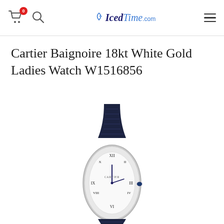IcedTime.com
Cartier Baignoire 18kt White Gold Ladies Watch W1516856
[Figure (photo): Cartier Baignoire ladies watch with oval white dial showing Roman numerals, white gold case, and dark navy blue alligator leather strap. The watch face shows Cartier branding and a blue sapphire crown.]